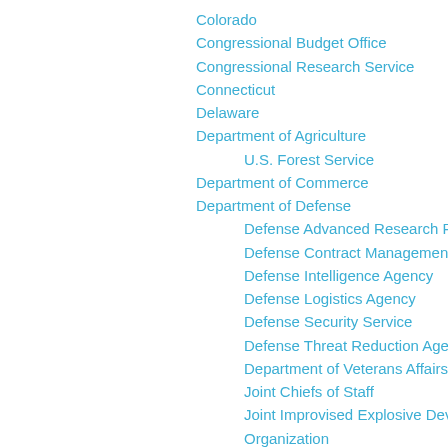Colorado
Congressional Budget Office
Congressional Research Service
Connecticut
Delaware
Department of Agriculture
U.S. Forest Service
Department of Commerce
Department of Defense
Defense Advanced Research Projects Agency
Defense Contract Management Agency
Defense Intelligence Agency
Defense Logistics Agency
Defense Security Service
Defense Threat Reduction Agency
Department of Veterans Affairs
Joint Chiefs of Staff
Joint Improvised Explosive Device Defeat Organization
Multi-National Corps Iraq
National Defense University
National Geospatial-Intelligence Agency
National Reconnaissance Office